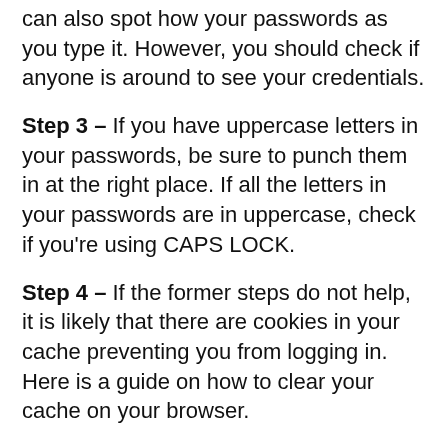can also spot how your passwords as you type it. However, you should check if anyone is around to see your credentials.
Step 3 – If you have uppercase letters in your passwords, be sure to punch them in at the right place. If all the letters in your passwords are in uppercase, check if you're using CAPS LOCK.
Step 4 – If the former steps do not help, it is likely that there are cookies in your cache preventing you from logging in. Here is a guide on how to clear your cache on your browser.
Step 5 – The website might be on the list of restricted sites in your region. You can check it with your Virtual Private Network (VPN) and consider switching your server to another country if you have the option to. If that does